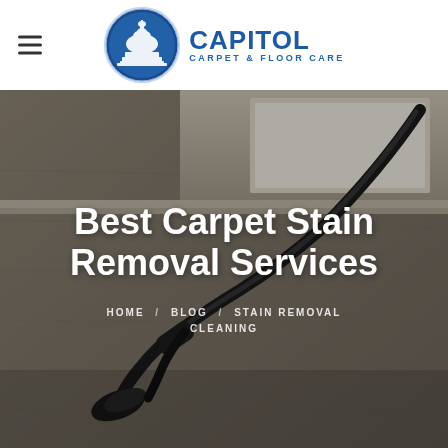[Figure (logo): Capitol Carpet & Floor Care logo — circular blue badge with white Capitol building illustration, next to bold blue text 'CAPITOL' and smaller text 'CARPET & FLOOR CARE']
[Figure (photo): Hero background photo showing a carpet being cleaned with a black steam cleaning wand/tool; gray carpet texture fills the frame with a window/wall visible in the upper portion]
Best Carpet Stain Removal Services
HOME / BLOG / STAIN REMOVAL CLEANING